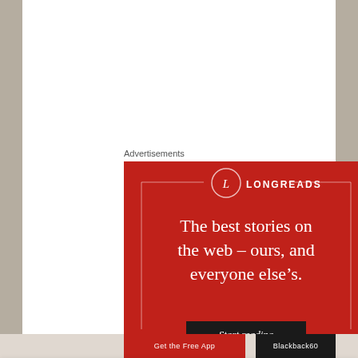Advertisements
[Figure (advertisement): Longreads advertisement on red background. Logo at top: circle with 'L' and 'LONGREADS' text. Main headline: 'The best stories on the web – ours, and everyone else's.' Button: 'Start reading']
Privacy & Cookies: This site uses cookies. By continuing to use this website, you agree to their use.
To find out more, including how to control cookies, see here: Cookie Policy
Close and accept